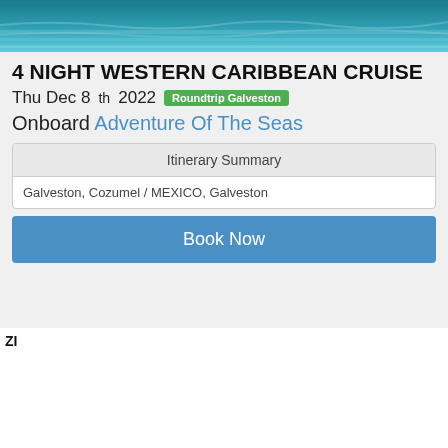[Figure (photo): Ocean water surface photo, teal/blue tones]
4 NIGHT WESTERN CARIBBEAN CRUISE
Thu Dec 8th 2022  Roundtrip Galveston
Onboard Adventure Of The Seas
| Itinerary Summary |
| --- |
| Galveston, Cozumel / MEXICO, Galveston |
Book Now
[Figure (photo): Ship interior cabin room with bed, TV, mirror, blue sofa]
Inside
Starting at
$198 PP
Includes
$25 Credit